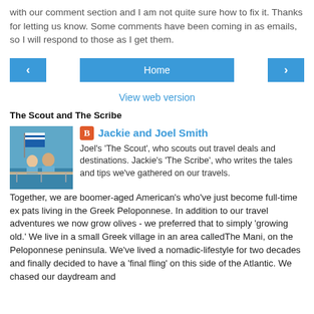with our comment section and I am not quite sure how to fix it. Thanks for letting us know. Some comments have been coming in as emails, so I will respond to those as I get them.
[Figure (other): Navigation bar with left arrow button, Home button, and right arrow button, all in blue]
View web version
The Scout and The Scribe
[Figure (photo): Photo of Jackie and Joel Smith standing on a boat with a Greek flag in the background]
Jackie and Joel Smith
Joel's 'The Scout', who scouts out travel deals and destinations. Jackie's 'The Scribe', who writes the tales and tips we've gathered on our travels. Together, we are boomer-aged American's who've just become full-time ex pats living in the Greek Peloponnese. In addition to our travel adventures we now grow olives - we preferred that to simply 'growing old.' We live in a small Greek village in an area calledThe Mani, on the Peloponnese peninsula. We've lived a nomadic-lifestyle for two decades and finally decided to have a 'final fling' on this side of the Atlantic. We chased our daydream and